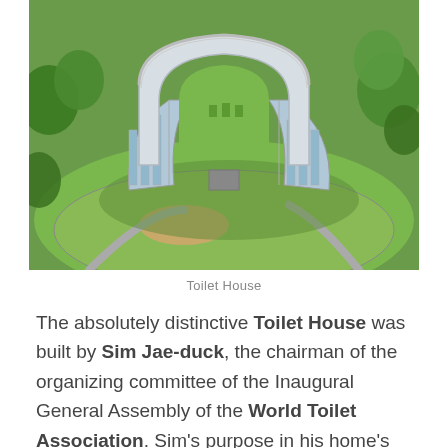[Figure (photo): Aerial rendering of the Toilet House — a building shaped like a toilet seat/U-shape, white curved structure with glass walls, surrounded by green lawn, trees, and circular pathway.]
Toilet House
The absolutely distinctive Toilet House was built by Sim Jae-duck, the chairman of the organizing committee of the Inaugural General Assembly of the World Toilet Association. Sim's purpose in his home's design was to bring awareness to the